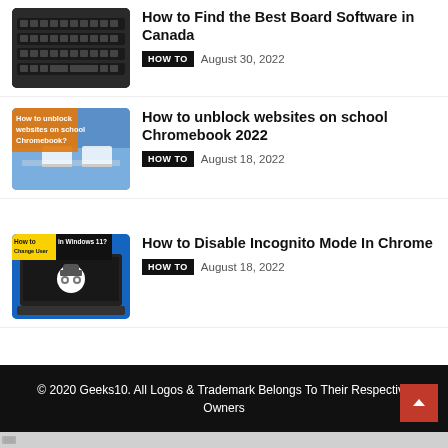[Figure (photo): Thumbnail image of multiple keyboards/computers for How to Find the Best Board Software in Canada article]
How to Find the Best Board Software in Canada
HOW TO   August 30, 2022
[Figure (photo): Thumbnail of students on school Chromebooks with orange overlay text 'How to unblock websites on school Chromebook?']
How to unblock websites on school Chromebook 2022
HOW TO   August 18, 2022
[Figure (photo): Thumbnail showing laptop with incognito mode icon and text 'How to Change User in Windows 11?' with yellow and blue design]
How to Disable Incognito Mode In Chrome
HOW TO   August 18, 2022
© 2020 Geeks10. All Logos & Trademark Belongs To Their Respective Owners